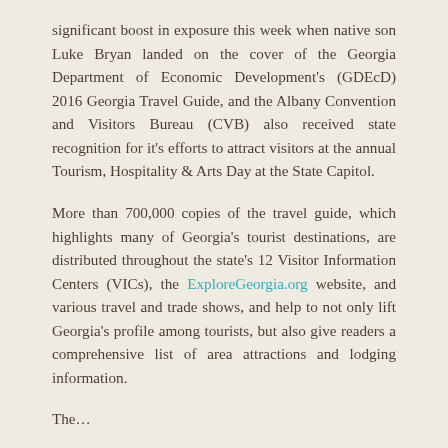significant boost in exposure this week when native son Luke Bryan landed on the cover of the Georgia Department of Economic Development's (GDEcD) 2016 Georgia Travel Guide, and the Albany Convention and Visitors Bureau (CVB) also received state recognition for it's efforts to attract visitors at the annual Tourism, Hospitality & Arts Day at the State Capitol.
More than 700,000 copies of the travel guide, which highlights many of Georgia's tourist destinations, are distributed throughout the state's 12 Visitor Information Centers (VICs), the ExploreGeorgia.org website, and various travel and trade shows, and help to not only lift Georgia's profile among tourists, but also give readers a comprehensive list of area attractions and lodging information.
The...